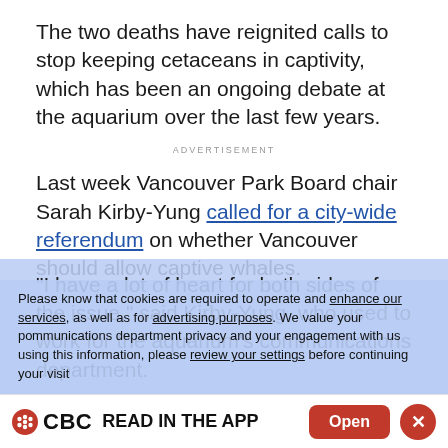The two deaths have reignited calls to stop keeping cetaceans in captivity, which has been an ongoing debate at the aquarium over the last few years.
ADVERTISEMENT
Last week Vancouver Park Board chair Sarah Kirby-Yung called for a city-wide referendum on whether Vancouver should allow captive whales.
"I have a lot of heart for both sides of the issue," said Kirby-Yung, who used to work for the aquarium's communications department.
Please know that cookies are required to operate and enhance our services, as well as for advertising purposes. We value your privacy and your engagement with us using this information, please review your settings before continuing your visit
CBC READ IN THE APP  Open